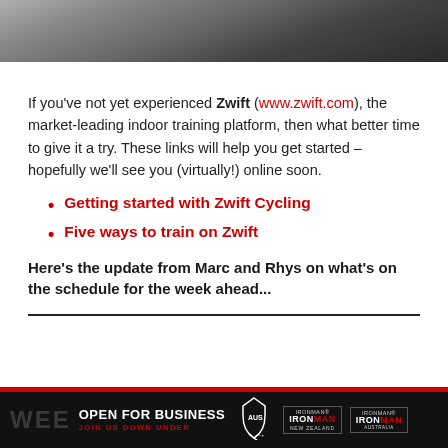[Figure (photo): Close-up photo of a metallic/chrome bicycle component, dark tones]
If you've not yet experienced Zwift (www.zwift.com), the market-leading indoor training platform, then what better time to give it a try. These links will help you get started – hopefully we'll see you (virtually!) online soon.
Getting started with Zwift Cycling
Five ways to train on Zwift
Here's the update from Marc and Rhys on what's on the schedule for the week ahead...
[Figure (infographic): Black footer advertisement banner: OPEN FOR BUSINESS / JOIN US DOWN UNDER with Australia map arrow and Ironman New Zealand logos]